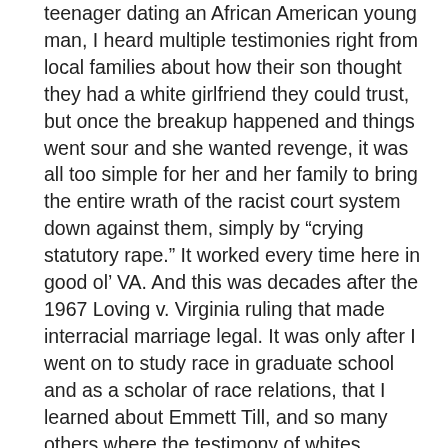teenager dating an African American young man, I heard multiple testimonies right from local families about how their son thought they had a white girlfriend they could trust, but once the breakup happened and things went sour and she wanted revenge, it was all too simple for her and her family to bring the entire wrath of the racist court system down against them, simply by “crying statutory rape.” It worked every time here in good ol’ VA. And this was decades after the 1967 Loving v. Virginia ruling that made interracial marriage legal. It was only after I went on to study race in graduate school and as a scholar of race relations, that I learned about Emmett Till, and so many others where the testimony of whites, particularly white women, was all the excuse a community needed to round up people of color and do whatever violence they wished to them, without fear of repercussion, or concern for justice or getting the facts. In what Katheryn Russell-Brown has called “racial hoaxes,” dozens of whites over the years have committed a crime and